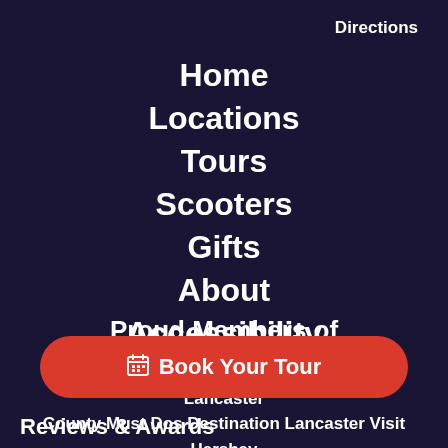Directions
Home
Locations
Tours
Scooters
Gifts
About
Accessibility
Proud Members of
Discover Lancaster LancasterPA.com Lancaster County Must Dos Destination Lancaster Visit Hershey & Harrisburg Visit PA
Book Your Tour
Reviews & Awards